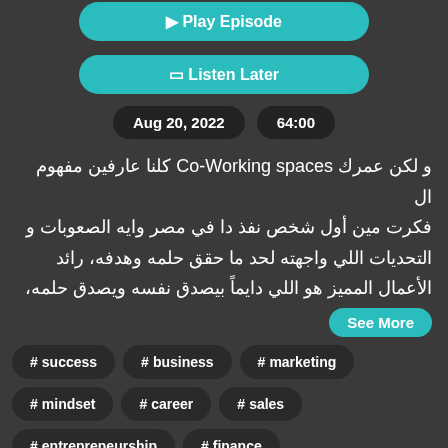[Figure (screenshot): Play Episode button (teal/cyan rounded rectangle)]
[Figure (screenshot): Listen Later button (teal/cyan rounded rectangle with bookmark icon)]
Aug 20, 2022   64:00
و لكن عمرك Co-Working spaces كلنا عارفين مفهوم ال فكرت مين أول شخص نفذ دا في مصر وايه الصعوبات و التحديات اللي واجهته لحد ما حقق حلمه وهدفه، رائد الأعمال المميز هو اللي دايماً بيصدق نفسه ويصدق حلمه،
See More
# success
# business
# marketing
# mindset
# career
# sales
# entrepreneurship
# finance